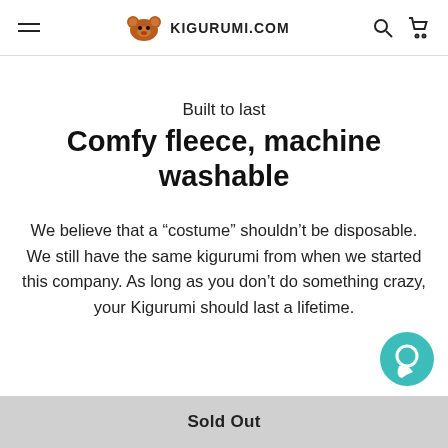KIGURUMI.COM
Built to last
Comfy fleece, machine washable
We believe that a “costume” shouldn’t be disposable. We still have the same kigurumi from when we started this company. As long as you don’t do something crazy, your Kigurumi should last a lifetime.
Sold Out